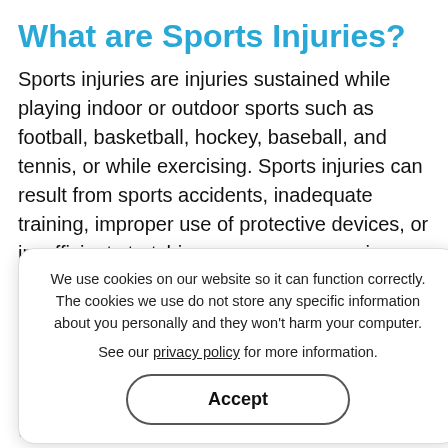What are Sports Injuries?
Sports injuries are injuries sustained while playing indoor or outdoor sports such as football, basketball, hockey, baseball, and tennis, or while exercising. Sports injuries can result from sports accidents, inadequate training, improper use of protective devices, or insufficient stretching or warm-up exercises. Common sports injuries include
bone, muscle, ligament and tendon injuries that commonly involve joints such as the shoulders, knees, elbows, ankles and feet.
Some of the common types of sports injuries treated by sports medicine specialists include:
Anterior cruciate ligament (ACL) tears
We use cookies on our website so it can function correctly. The cookies we use do not store any specific information about you personally and they won't harm your computer.

See our privacy policy for more information.
Accept